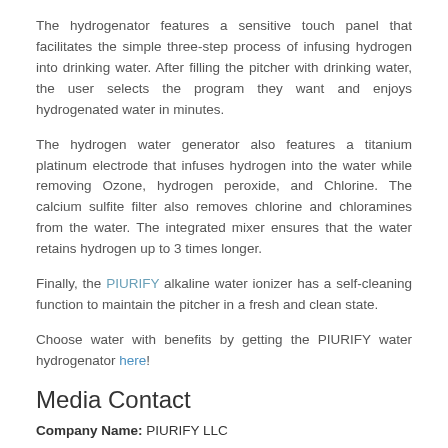The hydrogenator features a sensitive touch panel that facilitates the simple three-step process of infusing hydrogen into drinking water. After filling the pitcher with drinking water, the user selects the program they want and enjoys hydrogenated water in minutes.
The hydrogen water generator also features a titanium platinum electrode that infuses hydrogen into the water while removing Ozone, hydrogen peroxide, and Chlorine. The calcium sulfite filter also removes chlorine and chloramines from the water. The integrated mixer ensures that the water retains hydrogen up to 3 times longer.
Finally, the PIURIFY alkaline water ionizer has a self-cleaning function to maintain the pitcher in a fresh and clean state.
Choose water with benefits by getting the PIURIFY water hydrogenator here!
Media Contact
Company Name: PIURIFY LLC
Contact Person: COSMIN-ANDREI POROJAN
Email: Send Email
Country: United States
Website: https://www.piurify.com/